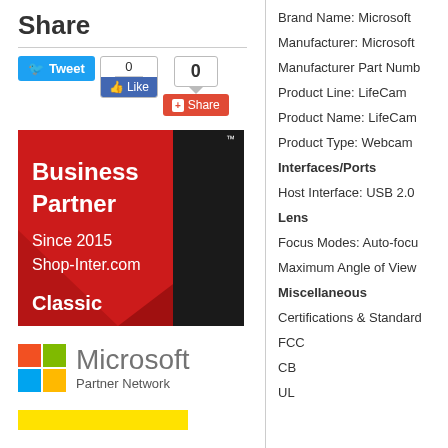Share
[Figure (screenshot): Social share buttons: Tweet button, Facebook Like widget with count 0, and a share widget showing 0 count]
[Figure (logo): Lenovo Business Partner badge - red background with 'Business Partner Since 2015 Shop-Inter.com Classic' and Lenovo logo]
[Figure (logo): Microsoft Partner Network logo with four-color Windows grid icon]
[Figure (other): Yellow bar at bottom of left column]
Brand Name: Microsoft
Manufacturer: Microsoft
Manufacturer Part Numb
Product Line: LifeCam
Product Name: LifeCam
Product Type: Webcam
Interfaces/Ports
Host Interface: USB 2.0
Lens
Focus Modes: Auto-focu
Maximum Angle of View
Miscellaneous
Certifications & Standard
FCC
CB
UL